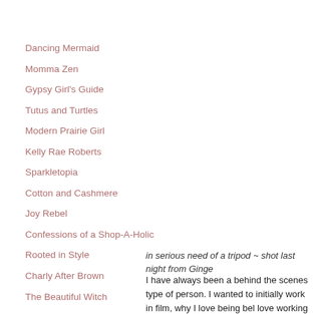Dancing Mermaid
Momma Zen
Gypsy Girl's Guide
Tutus and Turtles
Modern Prairie Girl
Kelly Rae Roberts
Sparkletopia
Cotton and Cashmere
Joy Rebel
Confessions of a Shop-A-Holic
Rooted in Style
Charly After Brown
The Beautiful Witch
Christine Mason Miller
Happy Simple Life
in serious need of a tripod ~ shot last night from Ginge
I have always been a behind the scenes type of person. I wanted to initially work in film, why I love being bel love working with food. Even some of my dreams are making wine and olive oil or why I enjoyed working